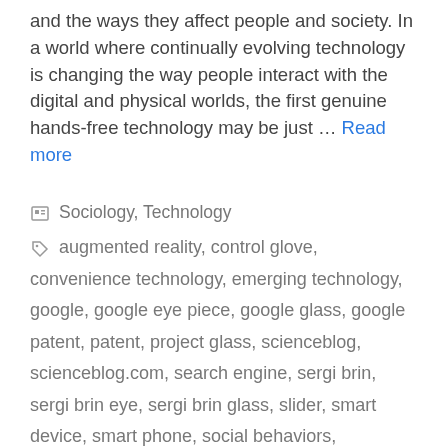and the ways they affect people and society. In a world where continually evolving technology is changing the way people interact with the digital and physical worlds, the first genuine hands-free technology may be just … Read more
Sociology, Technology
augmented reality, control glove, convenience technology, emerging technology, google, google eye piece, google glass, google patent, patent, project glass, scienceblog, scienceblog.com, search engine, sergi brin, sergi brin eye, sergi brin glass, slider, smart device, smart phone, social behaviors, technology, your smart